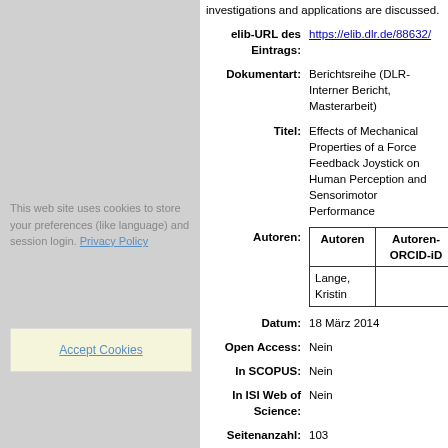The relevance of results and the impact on further investigations and applications are discussed.
elib-URL des Eintrags: https://elib.dlr.de/88632/
Dokumentart: Berichtsreihe (DLR-Interner Bericht, Masterarbeit)
Titel: Effects of Mechanical Properties of a Force Feedback Joystick on Human Perception and Sensorimotor Performance
| Autoren | Autoren-ORCID-iD |
| --- | --- |
| Lange, Kristin |  |
Datum: 18 März 2014
Open Access: Nein
In SCOPUS: Nein
In ISI Web of Science: Nein
Seitenanzahl: 103
Stichwörter: Haptic devices, Force Feedback, Joystick, Stiffness, Damping, Inertia, Sensorimotor Performance, Perception
Institution: TU Berlin